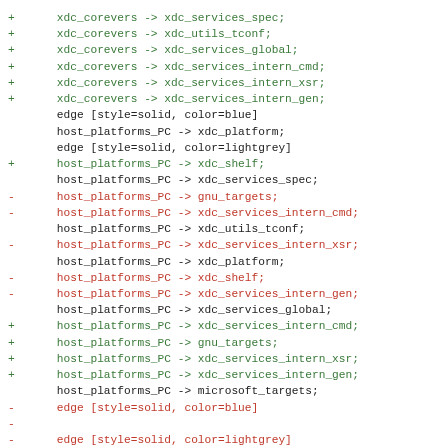+ xdc_corevers -> xdc_services_spec;
+ xdc_corevers -> xdc_utils_tconf;
+ xdc_corevers -> xdc_services_global;
+ xdc_corevers -> xdc_services_intern_cmd;
+ xdc_corevers -> xdc_services_intern_xsr;
+ xdc_corevers -> xdc_services_intern_gen;

  edge [style=solid, color=blue]
  host_platforms_PC -> xdc_platform;

  edge [style=solid, color=lightgrey]
+ host_platforms_PC -> xdc_shelf;
  host_platforms_PC -> xdc_services_spec;
- host_platforms_PC -> gnu_targets;
- host_platforms_PC -> xdc_services_intern_cmd;
  host_platforms_PC -> xdc_utils_tconf;
- host_platforms_PC -> xdc_services_intern_xsr;
  host_platforms_PC -> xdc_platform;
- host_platforms_PC -> xdc_shelf;
- host_platforms_PC -> xdc_services_intern_gen;
  host_platforms_PC -> xdc_services_global;
+ host_platforms_PC -> xdc_services_intern_cmd;
+ host_platforms_PC -> gnu_targets;
+ host_platforms_PC -> xdc_services_intern_xsr;
+ host_platforms_PC -> xdc_services_intern_gen;
  host_platforms_PC -> microsoft_targets;

- edge [style=solid, color=blue]
-
- edge [style=solid, color=lightgrey]
- xdc_corevers -> xdc_services_spec;
- xdc_corevers -> xdc_services_intern_cmd;